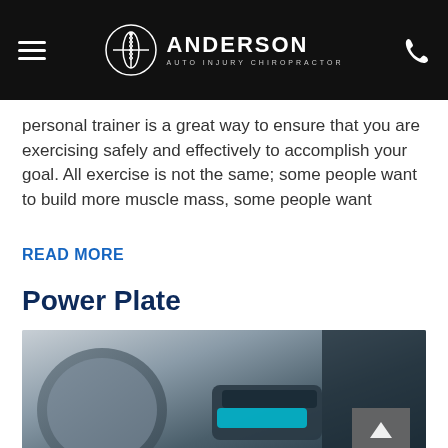ANDERSON AUTO INJURY CHIROPRACTOR
personal trainer is a great way to ensure that you are exercising safely and effectively to accomplish your goal. All exercise is not the same; some people want to build more muscle mass, some people want
READ MORE
Power Plate
[Figure (photo): Close-up photo of a person using a Power Plate vibration fitness machine, showing shoes with teal/turquoise accents on the plate surface]
The Power Plate's Advanced Vibration Technology is the most innovative health and fitness tool in the industry. Anderson Chiropractic wants to care for...